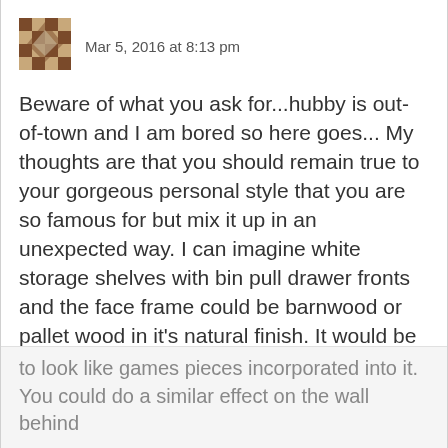[Figure (illustration): Small pixelated/geometric avatar icon in brown and cream tones]
Mar 5, 2016 at 8:13 pm
Beware of what you ask for...hubby is out-of-town and I am bored so here goes... My thoughts are that you should remain true to your gorgeous personal style that you are so famous for but mix it up in an unexpected way. I can imagine white storage shelves with bin pull drawer fronts and the face frame could be barnwood or pallet wood in it's natural finish. It would be fun to pull your brother into it by having him create a table on industrial wheels so it can be easily moved as needed and the top could be pieced together pallet or barn wood and some of the pieces could be made
to look like games pieces incorporated into it. You could do a similar effect on the wall behind